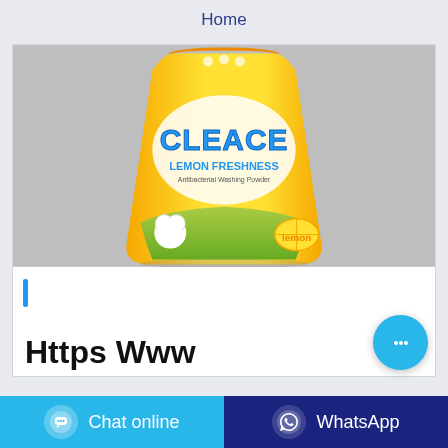Home
[Figure (photo): Yellow and orange bag of CLEACE Lemon Freshness Antibacterial Washing Powder product on gray background]
Https Www
Chat online
WhatsApp